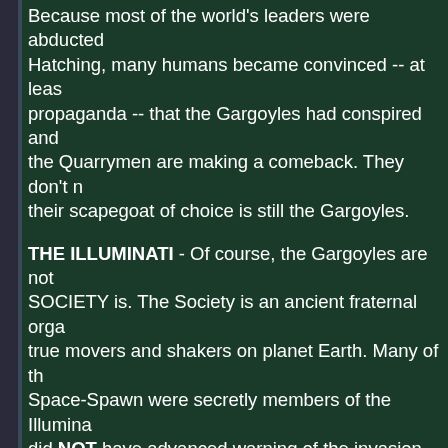Because most of the world's leaders were abducted Hatching, many humans became convinced -- at least propaganda -- that the Gargoyles had conspired and the Quarrymen are making a comeback. They don't r their scapegoat of choice is still the Gargoyles.
THE ILLUMINATI - Of course, the Gargoyles are not SOCIETY is. The Society is an ancient fraternal orga true movers and shakers on planet Earth. Many of th Space-Spawn were secretly members of the Illumina did NOT have advanced warning of the invasion. But the Illuminati wasted no time capitalizing on it. They r aliens, promising to infiltrate, sabotage and expose a the Space-Spawn promised to release those world le to vouch for. This devil's agreement was the beginnin concerned -- and the onset of a major headache for t
COYOTE-X - COYOTE-X is a super-advanced robot Machiavellian artificial intelligence. He has multiple ro number of android bodies that can accommodate his Coyote-X had designs on taking over the world. But t